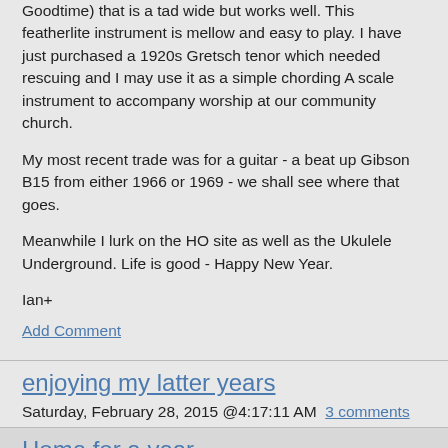Goodtime) that is a tad wide but works well.  This featherlite instrument is mellow and easy to play.  I have just purchased a 1920s Gretsch tenor which needed rescuing and I may use it as a simple chording A scale instrument to accompany worship at our community church.
My most recent trade was for a guitar - a beat up Gibson B15 from either 1966 or 1969 - we shall see where that goes.
Meanwhile I lurk on the HO site as well as the Ukulele Underground.  Life is good - Happy New Year.
Ian+
Add Comment
enjoying my latter years
Saturday, February 28, 2015 @4:17:11 AM  3 comments
Home for a year
Thursday, May 15, 2014 @7:33:00 AM  4 comments